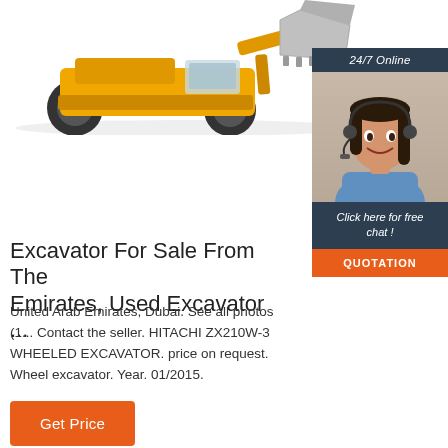[Figure (photo): Yellow wheeled front loader construction machine (excavator/loader) photographed from the side, showing large tires and a bucket raised at the front, on white background]
[Figure (photo): Chat widget on the right side showing '24/7 Online' banner in dark blue, a female customer service agent wearing a headset and smiling, 'Click here for free chat!' text in dark blue, and an orange 'QUOTATION' button]
Excavator For Sale From The Emirates, Used Excavator ...
United Arab Emirates, Dubai. See all photos (1... Contact the seller. HITACHI ZX210W-3 WHEELED EXCAVATOR. price on request. Wheel excavator. Year. 01/2015.
Get Price